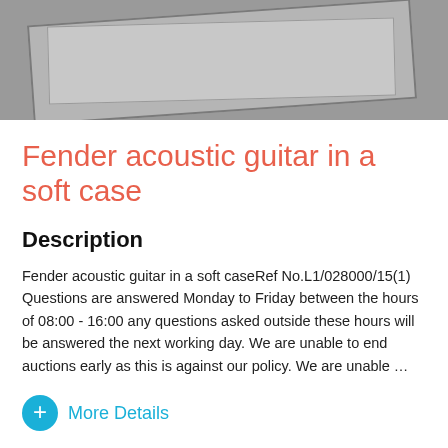[Figure (photo): Partial view of a grey/blurred product photo showing what appears to be a guitar case on a grey background]
Fender acoustic guitar in a soft case
Description
Fender acoustic guitar in a soft caseRef No.L1/028000/15(1) Questions are answered Monday to Friday between the hours of 08:00 - 16:00 any questions asked outside these hours will be answered the next working day. We are unable to end auctions early as this is against our policy. We are unable …
More Details